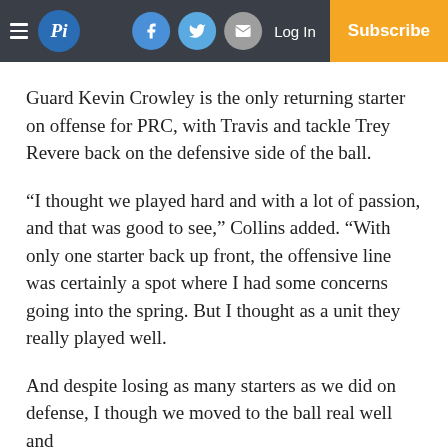Pi | Log In | Subscribe
Guard Kevin Crowley is the only returning starter on offense for PRC, with Travis and tackle Trey Revere back on the defensive side of the ball.
“I thought we played hard and with a lot of passion, and that was good to see,” Collins added. “With only one starter back up front, the offensive line was certainly a spot where I had some concerns going into the spring. But I thought as a unit they really played well.
And despite losing as many starters as we did on defense, I though we moved to the ball real well and